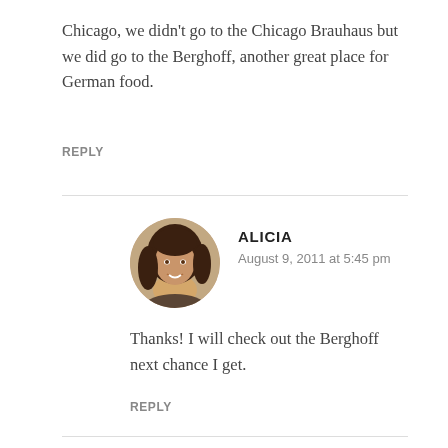Chicago, we didn’t go to the Chicago Brauhaus but we did go to the Berghoff, another great place for German food.
REPLY
[Figure (photo): Circular avatar photo of Alicia, a woman with dark brown hair, smiling.]
ALICIA
August 9, 2011 at 5:45 pm
Thanks! I will check out the Berghoff next chance I get.
REPLY